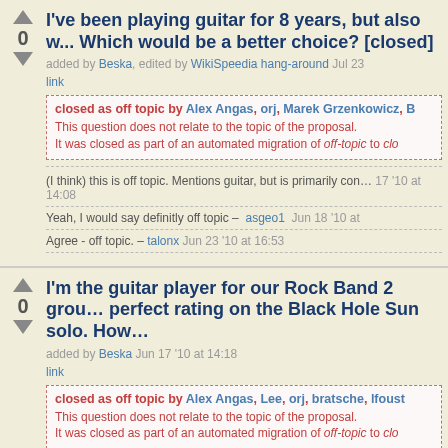I've been playing guitar for 8 years, but also w... Which would be a better choice? [closed]
added by Beska, edited by WikiSpeedia hang-around Jul 23
link
closed as off topic by Alex Angas, orj, Marek Grzenkowicz, B...
This question does not relate to the topic of the proposal. It was closed as part of an automated migration of off-topic to clo...
(I think) this is off topic. Mentions guitar, but is primarily con... 17 '10 at 14:08
Yeah, I would say definitly off topic – asgeo1 Jun 18 '10 at...
Agree - off topic. – talonx Jun 23 '10 at 16:53
I'm the guitar player for our Rock Band 2 grou... perfect rating on the Black Hole Sun solo. How...
added by Beska Jun 17 '10 at 14:18
link
closed as off topic by Alex Angas, Lee, orj, bratsche, lfoust...
This question does not relate to the topic of the proposal. It was closed as part of an automated migration of off-topic to clo...